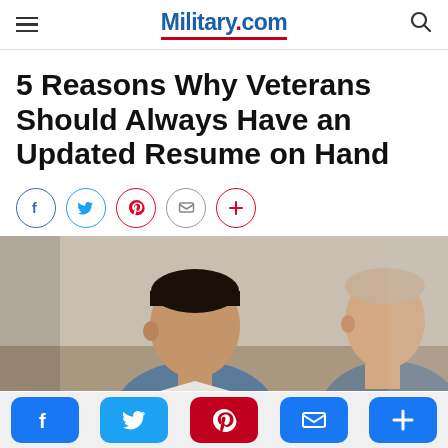Military.com
5 Reasons Why Veterans Should Always Have an Updated Resume on Hand
[Figure (photo): Two men in a job interview setting facing each other]
Social share bar: Facebook, Twitter, Pinterest, Email, More